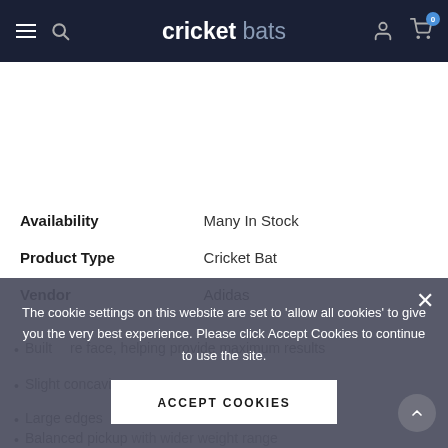cricket bats
| Availability | Many In Stock |
| Product Type | Cricket Bat |
| Vendor | Adidas |
Built … re face, helping provide maximum results
Slight concaving
Large edges
Balanced pickup with wider weight range
Mid sweet spot
The cookie settings on this website are set to 'allow all cookies' to give you the very best experience. Please click Accept Cookies to continue to use the site.